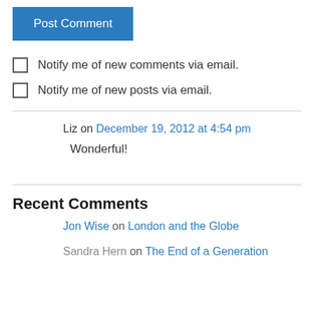Post Comment
Notify me of new comments via email.
Notify me of new posts via email.
Liz on December 19, 2012 at 4:54 pm
Wonderful!
Recent Comments
Jon Wise on London and the Globe
Sandra Hern on The End of a Generation